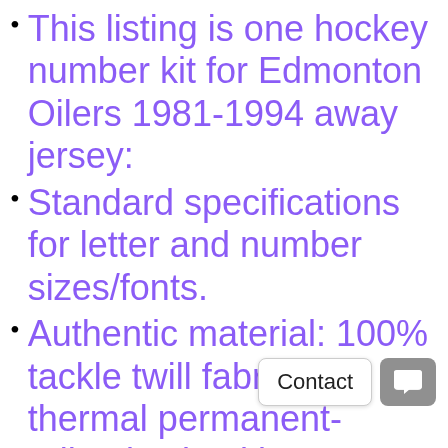This listing is one hockey number kit for Edmonton Oilers 1981-1994 away jersey:
Standard specifications for letter and number sizes/fonts.
Authentic material: 100% tackle twill fabric with thermal permanent-adhesive backing.
3 layers tackle twill for numbers and 1 layer for name letters.
Numbers and letters can be